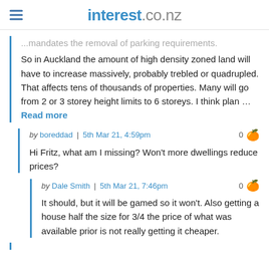interest.co.nz
...mandates the removal of parking requirements. So in Auckland the amount of high density zoned land will have to increase massively, probably trebled or quadrupled. That affects tens of thousands of properties. Many will go from 2 or 3 storey height limits to 6 storeys. I think plan ... Read more
by boreddad | 5th Mar 21, 4:59pm  0 👍
Hi Fritz, what am I missing? Won't more dwellings reduce prices?
by Dale Smith | 5th Mar 21, 7:46pm  0 👍
It should, but it will be gamed so it won't. Also getting a house half the size for 3/4 the price of what was available prior is not really getting it cheaper.